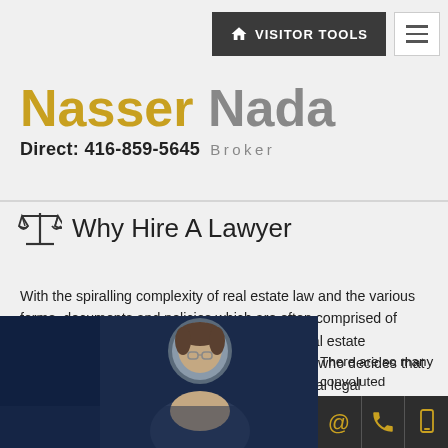VISITOR TOOLS (navigation bar with hamburger menu)
Nasser Nada — Direct: 416-859-5645  Broker
Why Hire A Lawyer
With the spiralling complexity of real estate law and the various forms, documents and policies which are often comprised of dozens of pages of small type legalese, any real estate transaction participant, whether buyer or seller, who decides that the best course is to avoid obtaining professional legal representation is prototypically "penny wise and pound foolish."
There are so many convoluted
[Figure (photo): A man in glasses looking downward, against a dark blue background]